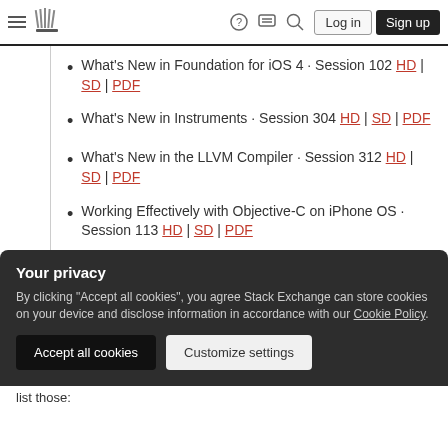Stack Exchange navigation bar with hamburger menu, logo, help, chat, search icons, Log in and Sign up buttons
What's New in Foundation for iOS 4 · Session 102 HD | SD | PDF
What's New in Instruments · Session 304 HD | SD | PDF
What's New in the LLVM Compiler · Session 312 HD | SD | PDF
Working Effectively with Objective-C on iPhone OS · Session 113 HD | SD | PDF
Your privacy
By clicking "Accept all cookies", you agree Stack Exchange can store cookies on your device and disclose information in accordance with our Cookie Policy.
list those: